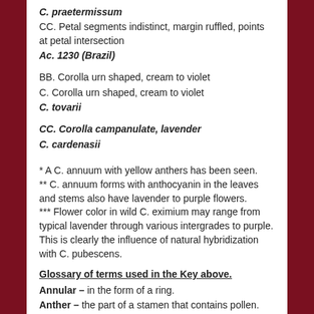C. praetermissum
CC. Petal segments indistinct, margin ruffled, points at petal intersection
Ac. 1230 (Brazil)
BB. Corolla urn shaped, cream to violet
C. Corolla urn shaped, cream to violet
C. tovarii
CC. Corolla campanulate, lavender
C. cardenasii
* A C. annuum with yellow anthers has been seen.
** C. annuum forms with anthocyanin in the leaves and stems also have lavender to purple flowers.
*** Flower color in wild C. eximium may range from typical lavender through various intergrades to purple. This is clearly the influence of natural hybridization with C. pubescens.
Glossary of terms used in the Key above.
Annular – in the form of a ring.
Anther – the part of a stamen that contains pollen.